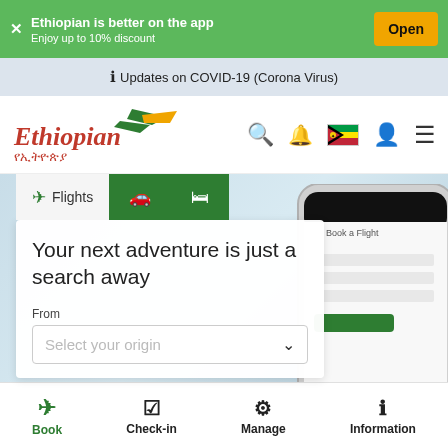Ethiopian is better on the app — Enjoy up to 10% discount — Open
Updates on COVID-19 (Corona Virus)
[Figure (logo): Ethiopian Airlines logo with bird and Amharic text]
Your next adventure is just a search away
From — Select your origin
Book | Check-in | Manage | Information